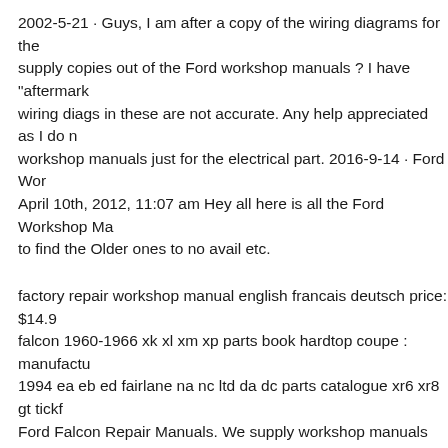2002-5-21 · Guys, I am after a copy of the wiring diagrams for the supply copies out of the Ford workshop manuals ? I have "aftermark wiring diags in these are not accurate. Any help appreciated as I do n workshop manuals just for the electrical part. 2016-9-14 · Ford Wor April 10th, 2012, 11:07 am Hey all here is all the Ford Workshop Ma to find the Older ones to no avail etc.
factory repair workshop manual english francais deutsch price: $14.9 falcon 1960-1966 xk xl xm xp parts book hardtop coupe : manufactu 1994 ea eb ed fairlane na nc ltd da dc parts catalogue xr6 xr8 gt tickf Ford Falcon Repair Manuals. We supply workshop manuals for Ford and LTD. Manuals are delivered by way of immediate download in P brief video below that tells you all about our manuals and shows exa interested, below there is a brief history of
Download a free pdf Ford Falcon / Fairlane workshop manual / facto manual for cars built between 1988 - 1994. Suit EA EB ED series ve Workshop Manuals by ozeford » April 10th, 2012, 11:07 am Hey all Manuals that I could find, trying to find the Older ones to no avail...